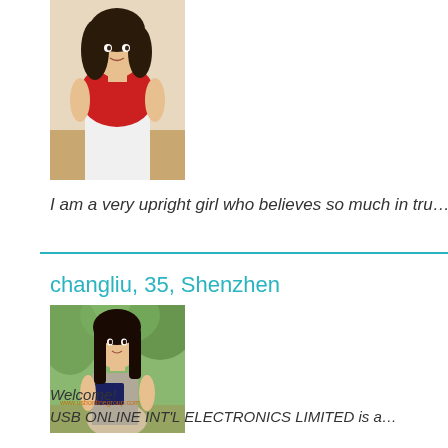[Figure (photo): Young woman in red top, white skirt, dark curly hair, indoor setting]
I am a very upright girl who believes so much in tru…
changliu, 35, Shenzhen
[Figure (photo): Young Asian woman in grey outfit holding a book/folder, outdoors with greenery, www.usbonlinegroup.com watermark]
Welcome!
USB ONLINE INT'L ELECTRONICS LIMITED is a…